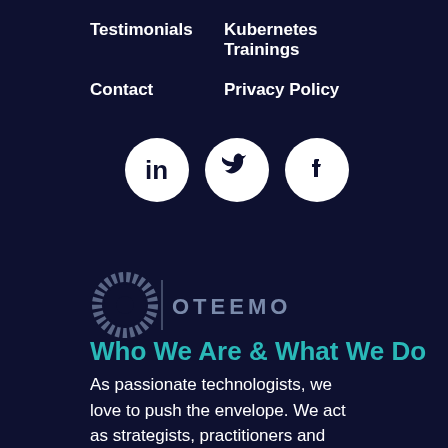Testimonials
Kubernetes Trainings
Contact
Privacy Policy
[Figure (illustration): Three social media icons (LinkedIn, Twitter, Facebook) as white circles on dark navy background]
[Figure (logo): Oteemo logo: circular dotted ring icon with vertical divider and OTEEMO text in gray/teal]
Who We Are & What We Do
As passionate technologists, we love to push the envelope. We act as strategists, practitioners and coaches to enable enterprises to adopt modern technology and accelerate